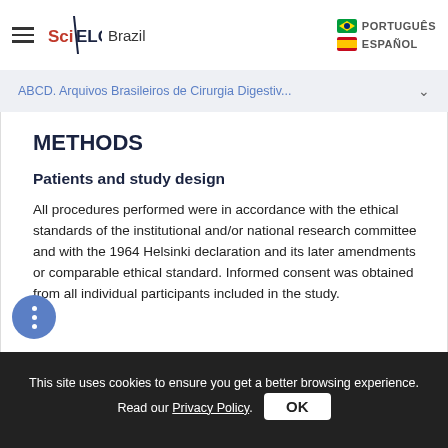SciELO Brazil | PORTUGUÊS | ESPAÑOL
ABCD. Arquivos Brasileiros de Cirurgia Digestiv...
METHODS
Patients and study design
All procedures performed were in accordance with the ethical standards of the institutional and/or national research committee and with the 1964 Helsinki declaration and its later amendments or comparable ethical standard. Informed consent was obtained from all individual participants included in the study.
This site uses cookies to ensure you get a better browsing experience. Read our Privacy Policy.